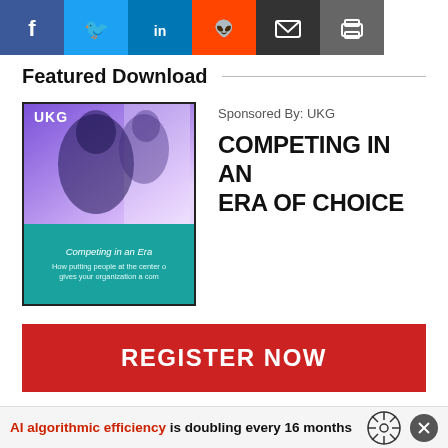[Figure (other): Social sharing icons row: Facebook (blue), Twitter (cyan), LinkedIn (blue), Reddit (orange-red), Email (black), Print (gray)]
Featured Download
[Figure (illustration): UKG branded book cover showing 'Competing in an Era of Choice' with a purple gradient background featuring a person, and a teal/green bottom section with title text]
Sponsored By: UKG
COMPETING IN AN ERA OF CHOICE
REGISTER NOW
AI algorithmic efficiency is doubling every 16 months